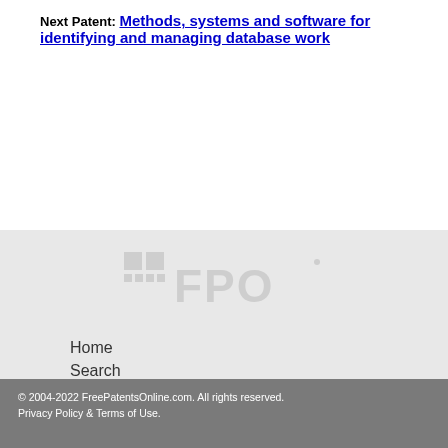Next Patent: Methods, systems and software for identifying and managing database work
[Figure (logo): FPO (FreePatentsOnline) watermark logo in grey]
Home
Search
Services
Contact us
[Figure (illustration): Social media icons: Twitter (t), LinkedIn (in), Email (envelope) in blue rounded squares]
© 2004-2022 FreePatentsOnline.com. All rights reserved. Privacy Policy & Terms of Use.